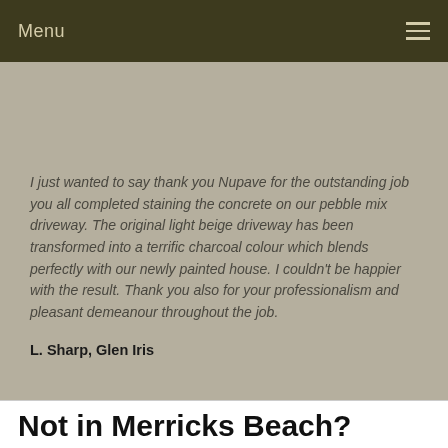Menu
I just wanted to say thank you Nupave for the outstanding job you all completed staining the concrete on our pebble mix driveway. The original light beige driveway has been transformed into a terrific charcoal colour which blends perfectly with our newly painted house. I couldn't be happier with the result. Thank you also for your professionalism and pleasant demeanour throughout the job.
L. Sharp, Glen Iris
Not in Merricks Beach? Don't worry we also service: